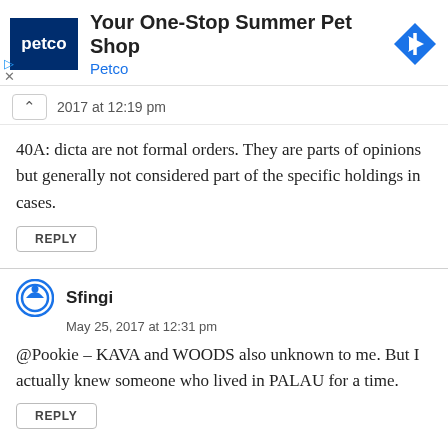[Figure (screenshot): Petco advertisement banner with logo, title 'Your One-Stop Summer Pet Shop', 'Petco' subtitle in blue, and a blue diamond navigation arrow icon]
2017 at 12:19 pm
40A: dicta are not formal orders. They are parts of opinions but generally not considered part of the specific holdings in cases.
REPLY
Sfingi
May 25, 2017 at 12:31 pm
@Pookie – KAVA and WOODS also unknown to me. But I actually knew someone who lived in PALAU for a time.
REPLY